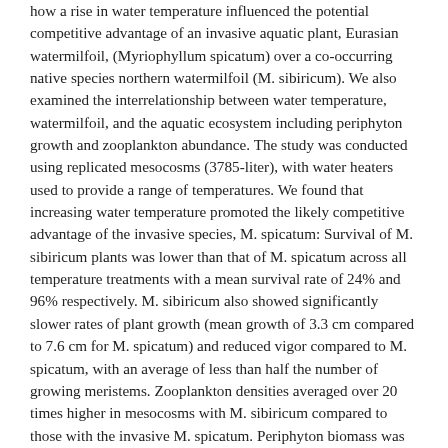how a rise in water temperature influenced the potential competitive advantage of an invasive aquatic plant, Eurasian watermilfoil, (Myriophyllum spicatum) over a co-occurring native species northern watermilfoil (M. sibiricum). We also examined the interrelationship between water temperature, watermilfoil, and the aquatic ecosystem including periphyton growth and zooplankton abundance. The study was conducted using replicated mesocosms (3785-liter), with water heaters used to provide a range of temperatures. We found that increasing water temperature promoted the likely competitive advantage of the invasive species, M. spicatum: Survival of M. sibiricum plants was lower than that of M. spicatum across all temperature treatments with a mean survival rate of 24% and 96% respectively. M. sibiricum also showed significantly slower rates of plant growth (mean growth of 3.3 cm compared to 7.6 cm for M. spicatum) and reduced vigor compared to M. spicatum, with an average of less than half the number of growing meristems. Zooplankton densities averaged over 20 times higher in mesocosms with M. sibiricum compared to those with the invasive M. spicatum. Periphyton biomass was best explained by water temperature with an increase in growth in warmer water. Our study confirms that in the face of global climate change, the invasive M. spicatum will continue to exert dominance over its native counterpart. Our results also provide compelling evidence that